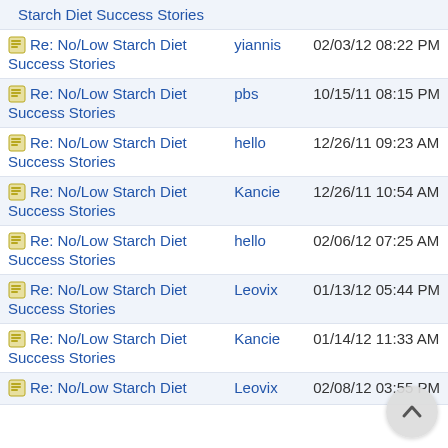| Topic | Author | Date |
| --- | --- | --- |
| Starch Diet Success Stories |  |  |
| Re: No/Low Starch Diet Success Stories | yiannis | 02/03/12 08:22 PM |
| Re: No/Low Starch Diet Success Stories | pbs | 10/15/11 08:15 PM |
| Re: No/Low Starch Diet Success Stories | hello | 12/26/11 09:23 AM |
| Re: No/Low Starch Diet Success Stories | Kancie | 12/26/11 10:54 AM |
| Re: No/Low Starch Diet Success Stories | hello | 02/06/12 07:25 AM |
| Re: No/Low Starch Diet Success Stories | Leovix | 01/13/12 05:44 PM |
| Re: No/Low Starch Diet Success Stories | Kancie | 01/14/12 11:33 AM |
| Re: No/Low Starch Diet Success Stories | Leovix | 02/08/12 03:55 PM |